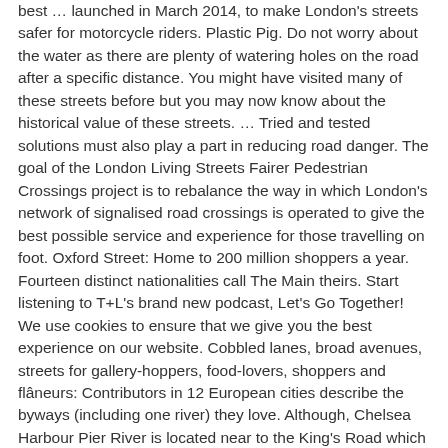best … launched in March 2014, to make London's streets safer for motorcycle riders. Plastic Pig. Do not worry about the water as there are plenty of watering holes on the road after a specific distance. You might have visited many of these streets before but you may now know about the historical value of these streets. … Tried and tested solutions must also play a part in reducing road danger. The goal of the London Living Streets Fairer Pedestrian Crossings project is to rebalance the way in which London's network of signalised road crossings is operated to give the best possible service and experience for those travelling on foot. Oxford Street: Home to 200 million shoppers a year. Fourteen distinct nationalities call The Main theirs. Start listening to T+L's brand new podcast, Let's Go Together! We use cookies to ensure that we give you the best experience on our website. Cobbled lanes, broad avenues, streets for gallery-hoppers, food-lovers, shoppers and flâneurs: Contributors in 12 European cities describe the byways (including one river) they love. Although, Chelsea Harbour Pier River is located near to the King's Road which is should not miss the place of London. Most people reach by foot from Trafalgar Square. Visit Kingly Court. Home to the Prime Minister, this is the road name in London you are most likely to … Shaftesbury Avenue. This street is famous for the unbeatable shopping experience. Carefully design pedestrian